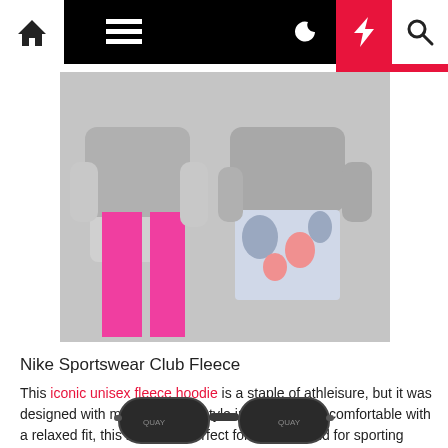Navigation bar with home, menu, moon, bolt, and search icons
[Figure (photo): Two people wearing athleisure clothing: one in pink leggings and grey hoodie, one in floral/abstract print shorts and grey hoodie]
Nike Sportswear Club Fleece
This iconic unisex fleece hoodie is a staple of athleisure, but it was designed with more than just style in mind. Super comfortable with a relaxed fit, this hoodie is perfect for the gym and for sporting around town.
Quay High Key Sunglasses ($69.99; amazon.com)
[Figure (photo): Partial view of Quay High Key sunglasses, dark frame, visible at bottom of page]